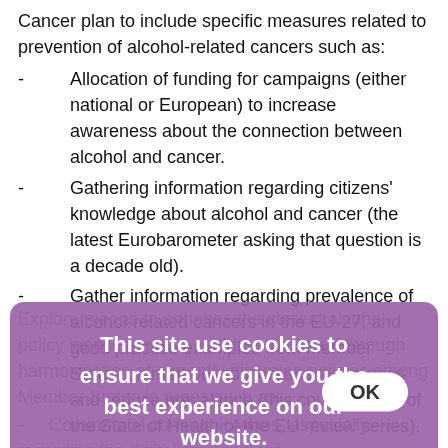Cancer plan to include specific measures related to prevention of alcohol-related cancers such as:
Allocation of funding for campaigns (either national or European) to increase awareness about the connection between alcohol and cancer.
Gathering information regarding citizens' knowledge about alcohol and cancer (the latest Eurobarometer asking that question is a decade old).
Gather information regarding prevalence of alcohol-related cancers in the EU-27, and good practice examples from Member States on methods to increase awareness and reduce prevalence (this could be part of the State of Health of the EU review series).
Explore means to enhance the current alcohol-policy landscape; this could be achieved through harmonisation of currently diverging policies among Member States in areas such as:
Commercial communications, especially regarding the digital environment.
[Figure (screenshot): Cookie consent overlay: 'This site use cookies to ensure that we give you the best experience on our website.' with OK button, purple background]